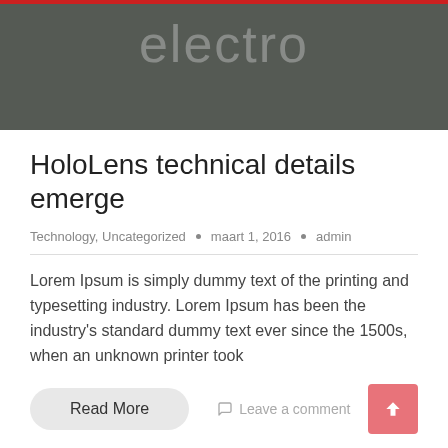[Figure (illustration): Dark grey hero banner with large light grey 'electro' text watermark and red top border]
HoloLens technical details emerge
Technology, Uncategorized  •  maart 1, 2016  •  admin
Lorem Ipsum is simply dummy text of the printing and typesetting industry. Lorem Ipsum has been the industry's standard dummy text ever since the 1500s, when an unknown printer took
Read More
Leave a comment